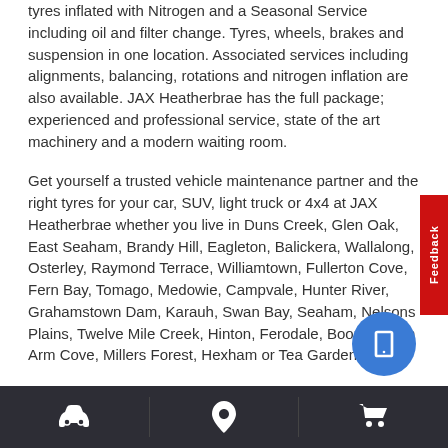tyres inflated with Nitrogen and a Seasonal Service including oil and filter change. Tyres, wheels, brakes and suspension in one location. Associated services including alignments, balancing, rotations and nitrogen inflation are also available. JAX Heatherbrae has the full package; experienced and professional service, state of the art machinery and a modern waiting room.
Get yourself a trusted vehicle maintenance partner and the right tyres for your car, SUV, light truck or 4x4 at JAX Heatherbrae whether you live in Duns Creek, Glen Oak, East Seaham, Brandy Hill, Eagleton, Balickera, Wallalong, Osterley, Raymond Terrace, Williamtown, Fullerton Cove, Fern Bay, Tomago, Medowie, Campvale, Hunter River, Grahamstown Dam, Karauh, Swan Bay, Seaham, Nelsons Plains, Twelve Mile Creek, Hinton, Ferodale, Booral, North Arm Cove, Millers Forest, Hexham or Tea Gardens.
Purchase four new tyres from a range of respected brands and a wheel alignment to qualify for the myjax platinum tyre maintenance plan. The programme includes over $500 worth of savings for each
[Figure (other): Dark bottom navigation bar with three icons: car icon, location pin icon, shopping cart icon, separated by dividers.]